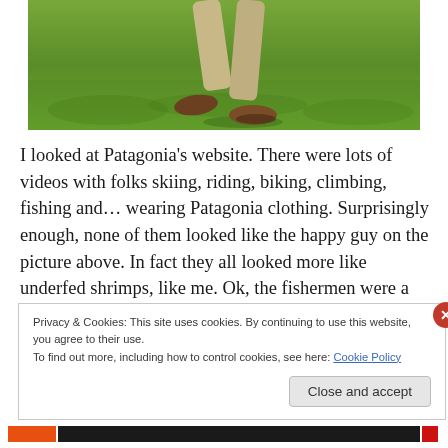[Figure (photo): Photo of a person running or walking on a green grass field, showing legs and feet wearing brown shoes and beige trousers, cropped at the top of the page.]
I looked at Patagonia's website. There were lots of videos with folks skiing, riding, biking, climbing, fishing and… wearing Patagonia clothing. Surprisingly enough, none of them looked like the happy guy on the picture above. In fact they all looked more like underfed shrimps, like me. Ok, the fishermen were a bit more stout, but even they
Privacy & Cookies: This site uses cookies. By continuing to use this website, you agree to their use.
To find out more, including how to control cookies, see here: Cookie Policy
Close and accept